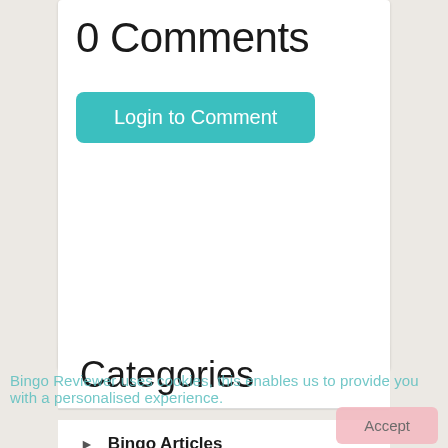0 Comments
Login to Comment
Categories
Bingo Articles
Bingo News
Bingo Promotions
Bingo Reviews
Bingo Tips
Bingo Reviewer uses cookies, this enables us to provide you with a personalised experience.